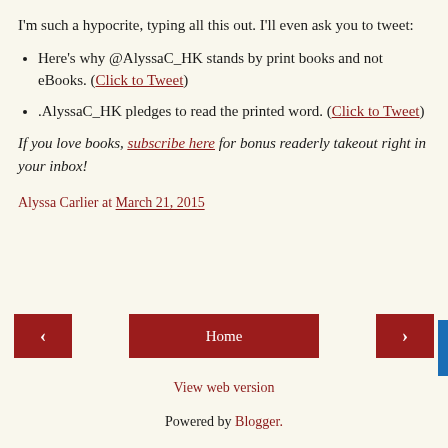I'm such a hypocrite, typing all this out. I'll even ask you to tweet:
Here's why @AlyssaC_HK stands by print books and not eBooks. (Click to Tweet)
.AlyssaC_HK pledges to read the printed word. (Click to Tweet)
If you love books, subscribe here for bonus readerly takeout right in your inbox!
Alyssa Carlier at March 21, 2015
< Home >
View web version
Powered by Blogger.